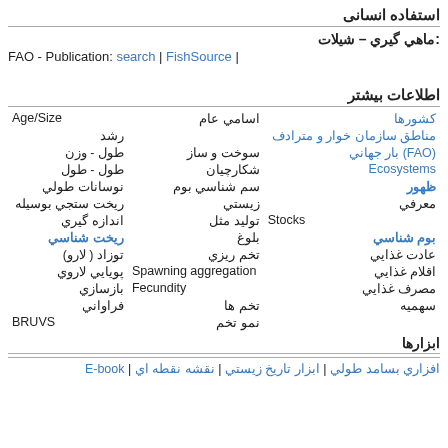استفاده انسانی
ماهي گيري – شيلات :
FAO - Publication: search | FishSource |
اطلاعات بيشتر
| col1 | col2 | col3 |
| --- | --- | --- |
| كشورها | اسامي عام | Age/Size |
| مترادفمناطق سازمان خوار و |  | رشد |
| (FAO) بار جهاني | سوخت و ساز | طول - وزن |
| Ecosystems | شكارچيان | طول - طول |
| ظهور | سم شناسي بوم | نوسانات طولي |
| معرفي | زيستي | ريخت ستجي بوسيله |
| Stocks | توليد مثل | اندازه گيري |
| بوم شناسي | بلوغ | ريخت شناسي |
| عادت غذايي | تخم ريزي | توزاد ( لارو) |
| اقلام غذايي | Spawning aggregation | پويايي لاروي |
| مصرف غذايي | Fecundity | بازسازي |
| سهميه | تخم ها | فراواني |
|  | نمو تخم | BRUVS |
ابزارها
افزاري بسامد طولي | ابزار تاريخ زيستي | نقشه نقطه اي | E-book